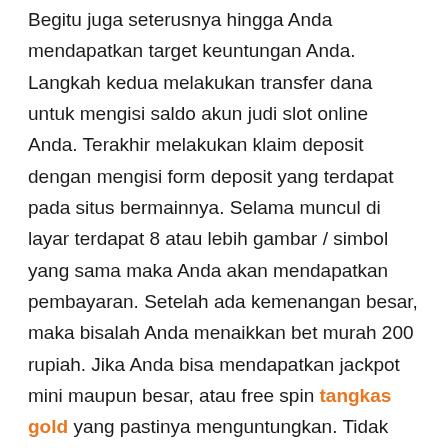Begitu juga seterusnya hingga Anda mendapatkan target keuntungan Anda. Langkah kedua melakukan transfer dana untuk mengisi saldo akun judi slot online Anda. Terakhir melakukan klaim deposit dengan mengisi form deposit yang terdapat pada situs bermainnya. Selama muncul di layar terdapat 8 atau lebih gambar / simbol yang sama maka Anda akan mendapatkan pembayaran. Setelah ada kemenangan besar, maka bisalah Anda menaikkan bet murah 200 rupiah. Jika Anda bisa mendapatkan jackpot mini maupun besar, atau free spin tangkas gold yang pastinya menguntungkan. Tidak ada slot video kekinian yang akan komplet tanpa perputaran bonus Spin gratis. Tidak peduli Anda melakukan deposit slot online dengan transfer bank, E-Wallet atau deposit pulsa. PELAYANAN YANG RAMAH DAN AMAN SELAMA 24 JAM ONLINE Menjadi bagian yang Terpercaya, Situs FINS88 memberikan Costumer